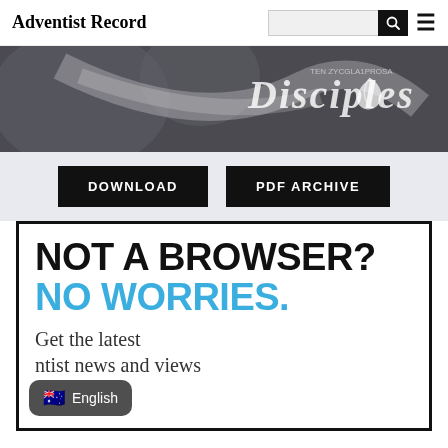Adventist Record
[Figure (photo): Dark background hero image with 'Disciples' text overlay and Adventist leaf logo]
DOWNLOAD
PDF ARCHIVE
NOT A BROWSER? NO WORRIES.
Get the latest ntist news and views
English